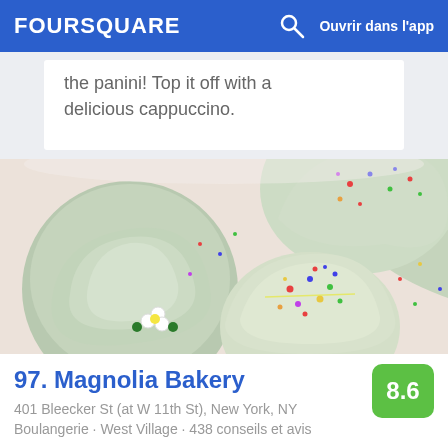FOURSQUARE   Ouvrir dans l'app
the panini! Top it off with a delicious cappuccino.
[Figure (photo): Close-up photo of cupcakes with white/green frosting and colorful sprinkles on a white surface with floral decoration]
97. Magnolia Bakery
401 Bleecker St (at W 11th St), New York, NY
Boulangerie · West Village · 438 conseils et avis
[Figure (photo): Partial photo of food items at the bottom of the page]